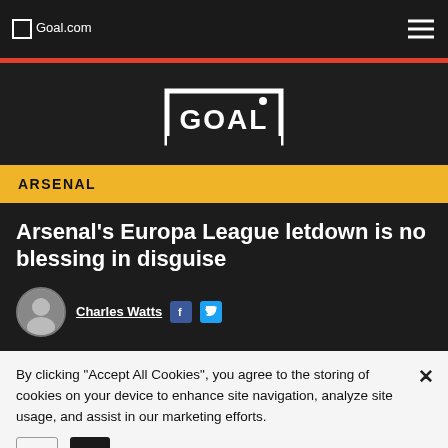Goal.com
[Figure (logo): Goal.com logo with goal post frame and dot above the L]
ARSENAL
Arsenal's Europa League letdown is no blessing in disguise
Charles Watts
By clicking "Accept All Cookies", you agree to the storing of cookies on your device to enhance site navigation, analyze site usage, and assist in our marketing efforts.